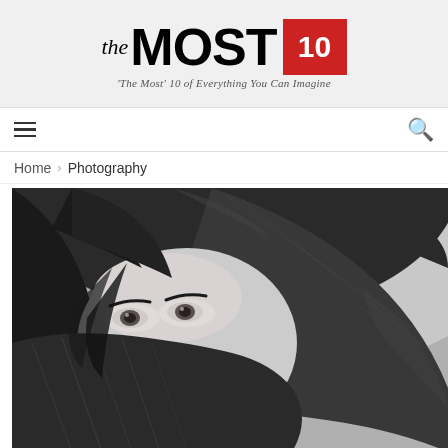the MOST 10 — 'The Most' 10 of Everything You Can Imagine
≡   🔍
Home > Photography
[Figure (photo): Black and white close-up portrait photograph of a woman with dark hair, her face partially covered by a draped dark fabric/scarf wrapped around her head, with only her eyes and forehead visible, dramatic lighting.]